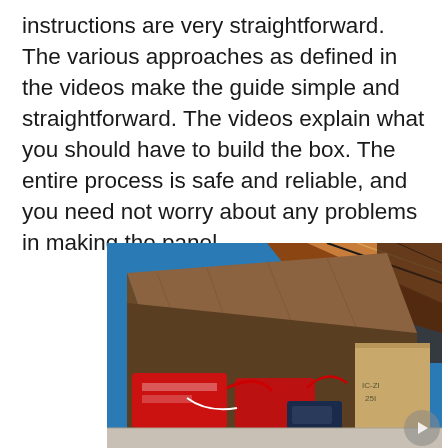instructions are very straightforward. The various approaches as defined in the videos make the guide simple and straightforward. The videos explain what you should have to build the box. The entire process is safe and reliable, and you need not worry about any problems in making the panel.
[Figure (photo): A wooden box/crate open, containing red battery-like components and wiring, with some cardboard boxes visible to the right. Blue wall and a colorful textile/blanket visible in the background.]